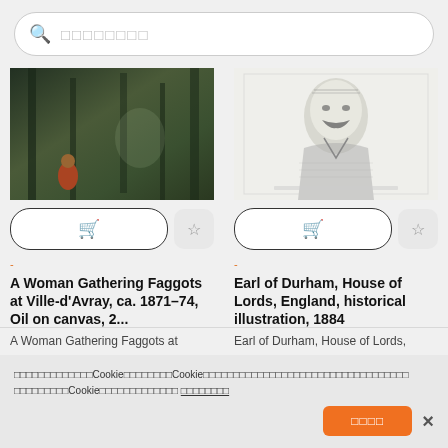Search placeholder (Japanese/CJK characters)
[Figure (photo): Dark forest oil painting with a figure in red, ca. 1871–74]
[Figure (illustration): Black and white engraving of a mustachioed man, Earl of Durham, 1884]
A Woman Gathering Faggots at Ville-d'Avray, ca. 1871–74, Oil on canvas, 2...
Earl of Durham, House of Lords, England, historical illustration, 1884
A Woman Gathering Faggots at (truncated)
Earl of Durham, House of Lords, (truncated)
Cookie consent notice in Japanese/CJK with Cookie policy link